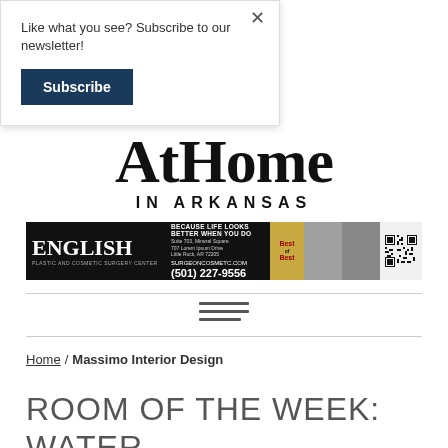Like what you see? Subscribe to our newsletter!
Subscribe
[Figure (logo): AtHome In Arkansas magazine logo — large serif 'AtHome' text above 'IN ARKANSAS' in spaced uppercase sans-serif]
[Figure (photo): English Plastic and Cosmetic Surgery Center advertisement banner — black background with logo, tagline 'BECAUSE LIFE LOOKS BETTER WHEN YOU DO', address, website SURGEONCOSMETC.COM, phone (501) 227-9556, Best of Best badge, two women's photos, QR code]
Home / Massimo Interior Design
ROOM OF THE WEEK: WATER